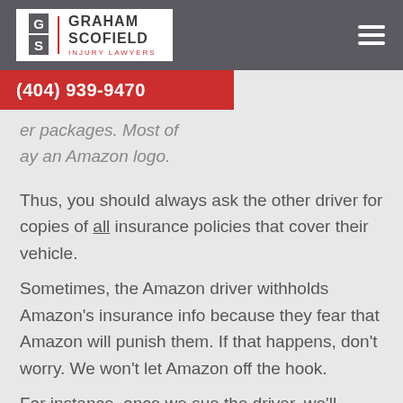Graham Scofield Injury Lawyers | (404) 939-9470
er packages. Most of ay an Amazon logo.
Thus, you should always ask the other driver for copies of all insurance policies that cover their vehicle.
Sometimes, the Amazon driver withholds Amazon's insurance info because they fear that Amazon will punish them. If that happens, don't worry. We won't let Amazon off the hook.
For instance, once we sue the driver, we'll demand that they admit they were "on duty"